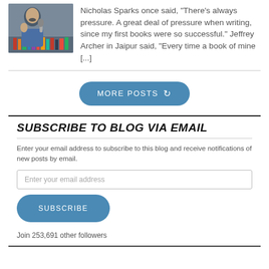[Figure (photo): Photo of a man holding a microphone, sitting in front of bookshelves, wearing a blue checkered shirt]
Nicholas Sparks once said, “There’s always pressure. A great deal of pressure when writing, since my first books were so successful.” Jeffrey Archer in Jaipur said, “Every time a book of mine [...]
[Figure (other): MORE POSTS button with refresh icon, blue rounded rectangle]
SUBSCRIBE TO BLOG VIA EMAIL
Enter your email address to subscribe to this blog and receive notifications of new posts by email.
Enter your email address
[Figure (other): SUBSCRIBE button, blue rounded rectangle]
Join 253,691 other followers